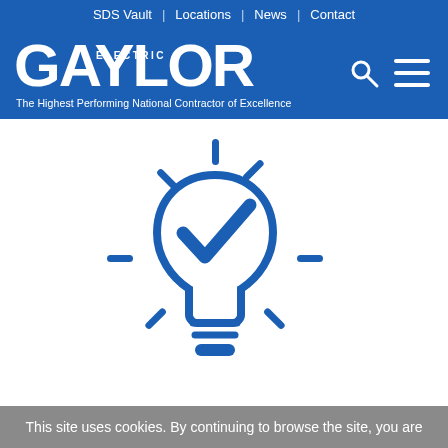SDS Vault | Locations | News | Contact
[Figure (logo): Gaylor Electric logo with tagline 'The Highest Performing National Contractor of Excellence' on blue background, with search and hamburger menu icons]
[Figure (illustration): Light bulb icon with a checkmark inside and radiating lines, rendered in blue outline style]
This site uses cookies. By continuing to browse the site, you are